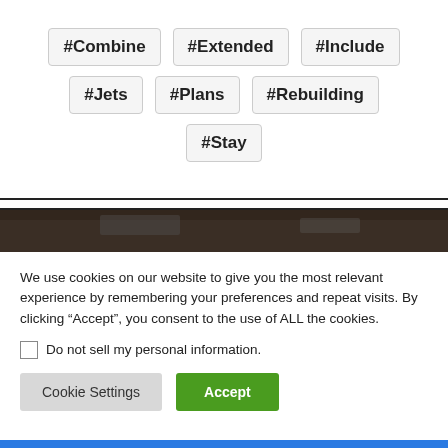#Combine
#Extended
#Include
#Jets
#Plans
#Rebuilding
#Stay
[Figure (photo): Dark colored photo strip at top of cookie consent banner]
We use cookies on our website to give you the most relevant experience by remembering your preferences and repeat visits. By clicking “Accept”, you consent to the use of ALL the cookies.
Do not sell my personal information.
Cookie Settings
Accept